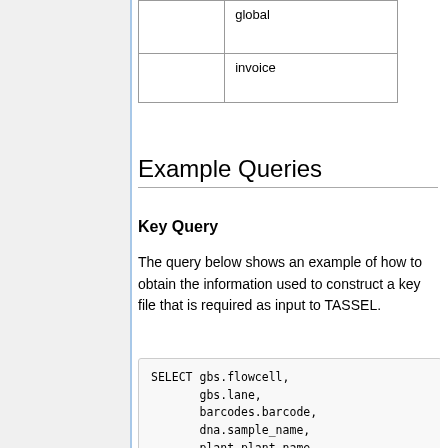|  | global |
|  | invoice |
Example Queries
Key Query
The query below shows an example of how to obtain the information used to construct a key file that is required as input to TASSEL.
SELECT gbs.flowcell,
       gbs.lane,
       barcodes.barcode,
       dna.sample_name,
       plant.plant_name,
       dna.plate_id,
       substring(dna.well_A01,1,1)
       substring(dna.well_A01,2,2)